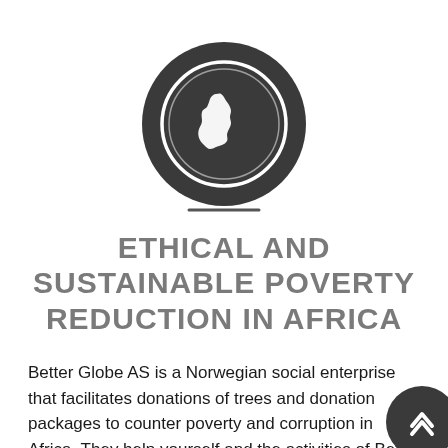[Figure (illustration): Dark circular icon containing a white outline globe showing Africa continent, with a short horizontal line below the circle]
ETHICAL AND SUSTAINABLE POVERTY REDUCTION IN AFRICA
Better Globe AS is a Norwegian social enterprise that facilitates donations of trees and donation packages to counter poverty and corruption in Africa. They help yourself and the activities of Better Globe Foundation bl...